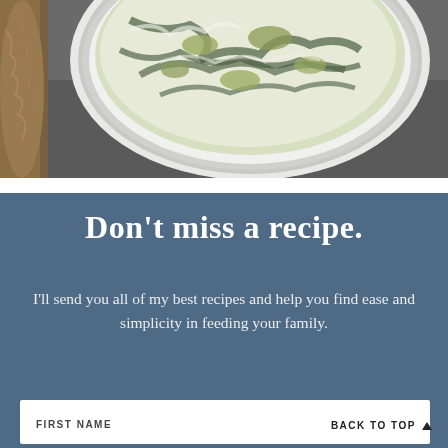[Figure (photo): Overhead photo of a creamy spinach artichoke dip in a white bowl on a dark surface, with a piece of bread visible at the left edge.]
Don't miss a recipe.
I'll send you all of my best recipes and help you find ease and simplicity in feeding your family.
FIRST NAME
BACK TO TOP ^